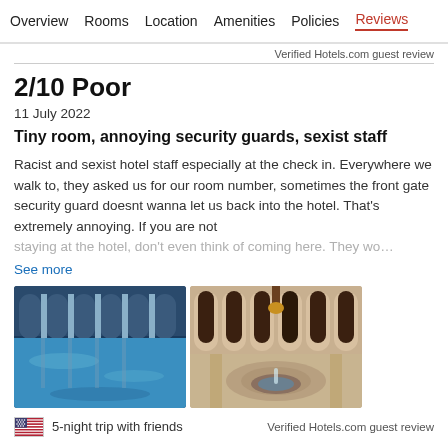Overview   Rooms   Location   Amenities   Policies   Reviews
Verified Hotels.com guest review
2/10 Poor
11 July 2022
Tiny room, annoying security guards, sexist staff
Racist and sexist hotel staff especially at the check in. Everywhere we walk to, they asked us for our room number, sometimes the front gate security guard doesnt wanna let us back into the hotel. That's extremely annoying. If you are not staying at the hotel, don't even think of coming here. They wo…
See more
[Figure (photo): Two hotel photos side by side: left shows an indoor pool with arched Moorish architecture and blue water, right shows an ornate courtyard with arched galleries and a central fountain.]
5-night trip with friends
Verified Hotels.com guest review